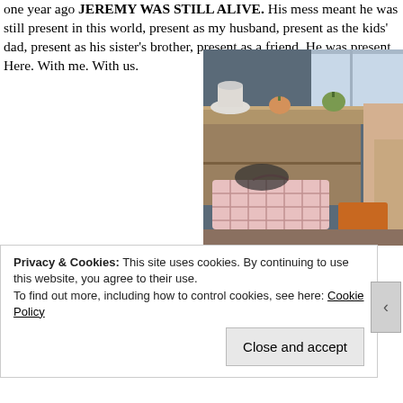one year ago JEREMY WAS STILL ALIVE.  His mess meant he was still present in this world, present as my husband, present as the kids' dad, present as his sister's brother, present as a friend.  He was present.  Here.  With me.  With us.
[Figure (photo): A photo of a nightstand or side table with items on top, and a pink patterned basket/bag underneath, with a person's arm visible on the right side.]
Privacy & Cookies: This site uses cookies. By continuing to use this website, you agree to their use.
To find out more, including how to control cookies, see here: Cookie Policy
Close and accept